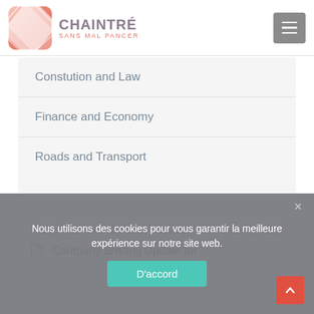CHAINTRÉ SANS MAL PANCER
Constution and Law
Finance and Economy
Roads and Transport
Company Briefing Update for
Nous utilisons des cookies pour vous garantir la meilleure expérience sur notre site web.
D'accord